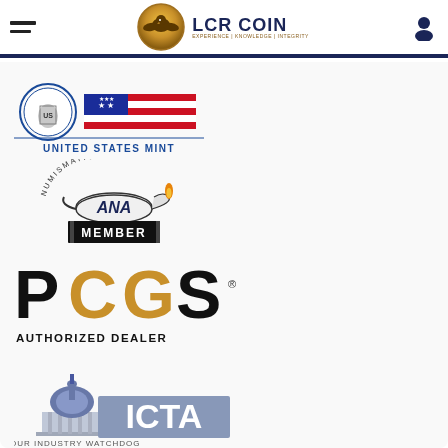LCR Coin — Experience | Knowledge | Integrity
[Figure (logo): United States Mint logo with flag and shield, text UNITED STATES MINT]
[Figure (logo): ANA Numismatic Member logo with lamp and text ANA MEMBER]
[Figure (logo): PCGS Authorized Dealer logo in black and gold]
[Figure (logo): ICTA Your Industry Watchdog logo with Capitol building]
[Figure (logo): NGC logo (partially visible at bottom)]